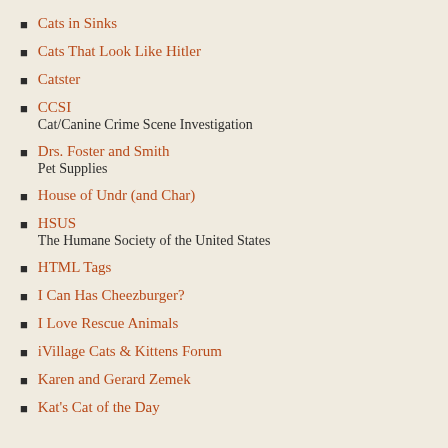Cats in Sinks
Cats That Look Like Hitler
Catster
CCSI
Cat/Canine Crime Scene Investigation
Drs. Foster and Smith
Pet Supplies
House of Undr (and Char)
HSUS
The Humane Society of the United States
HTML Tags
I Can Has Cheezburger?
I Love Rescue Animals
iVillage Cats & Kittens Forum
Karen and Gerard Zemek
Kat's Cat of the Day